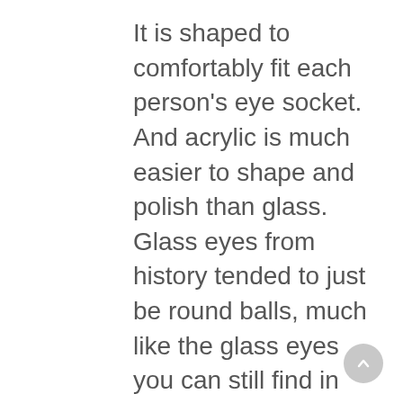It is shaped to comfortably fit each person's eye socket. And acrylic is much easier to shape and polish than glass. Glass eyes from history tended to just be round balls, much like the glass eyes you can still find in stuffed animals. This is actually a misnomer perpetuated by urban myths and Hollywood stereotypes. Glass eyes started out as blown glass spheres, but would be shaped into a half sphere shape like modern